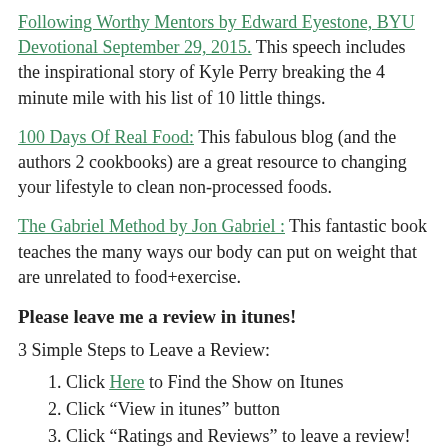Following Worthy Mentors by Edward Eyestone, BYU Devotional September 29, 2015. This speech includes the inspirational story of Kyle Perry breaking the 4 minute mile with his list of 10 little things.
100 Days Of Real Food: This fabulous blog (and the authors 2 cookbooks) are a great resource to changing your lifestyle to clean non-processed foods.
The Gabriel Method by Jon Gabriel : This fantastic book teaches the many ways our body can put on weight that are unrelated to food+exercise.
Please leave me a review in itunes!
3 Simple Steps to Leave a Review:
Click Here to Find the Show on Itunes
Click “View in itunes” button
Click “Ratings and Reviews” to leave a review!
If you enjoy the podcast, please consider leaving a 5